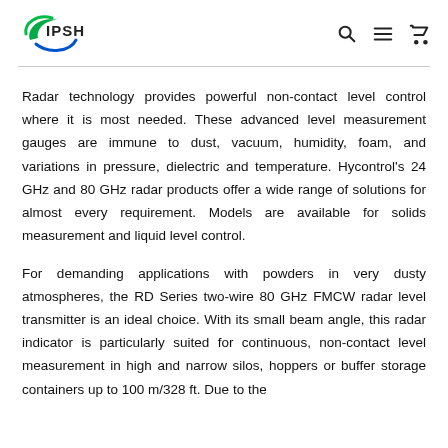IPSH [logo] — navigation icons: search, menu, cart
Radar technology provides powerful non-contact level control where it is most needed. These advanced level measurement gauges are immune to dust, vacuum, humidity, foam, and variations in pressure, dielectric and temperature. Hycontrol's 24 GHz and 80 GHz radar products offer a wide range of solutions for almost every requirement. Models are available for solids measurement and liquid level control.
For demanding applications with powders in very dusty atmospheres, the RD Series two-wire 80 GHz FMCW radar level transmitter is an ideal choice. With its small beam angle, this radar indicator is particularly suited for continuous, non-contact level measurement in high and narrow silos, hoppers or buffer storage containers up to 100 m/328 ft. Due to the